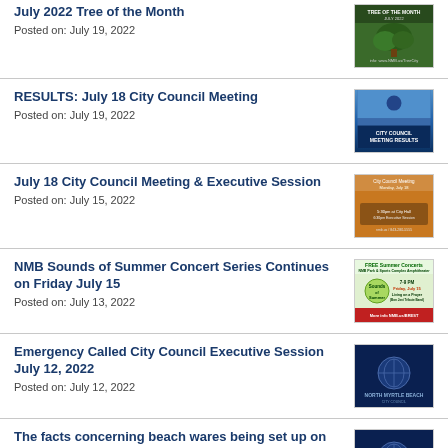July 2022 Tree of the Month
Posted on: July 19, 2022
RESULTS: July 18 City Council Meeting
Posted on: July 19, 2022
July 18 City Council Meeting & Executive Session
Posted on: July 15, 2022
NMB Sounds of Summer Concert Series Continues on Friday July 15
Posted on: July 13, 2022
Emergency Called City Council Executive Session July 12, 2022
Posted on: July 12, 2022
The facts concerning beach wares being set up on the beach